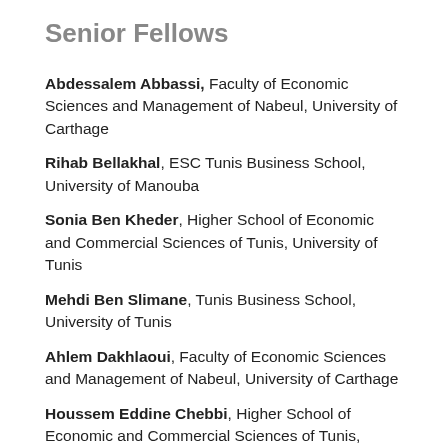Senior Fellows
Abdessalem Abbassi, Faculty of Economic Sciences and Management of Nabeul, University of Carthage
Rihab Bellakhal, ESC Tunis Business School, University of Manouba
Sonia Ben Kheder, Higher School of Economic and Commercial Sciences of Tunis, University of Tunis
Mehdi Ben Slimane, Tunis Business School, University of Tunis
Ahlem Dakhlaoui, Faculty of Economic Sciences and Management of Nabeul, University of Carthage
Houssem Eddine Chebbi, Higher School of Economic and Commercial Sciences of Tunis, University of Tunis
Salma Chekly, Tunis Business School, University of Tunis